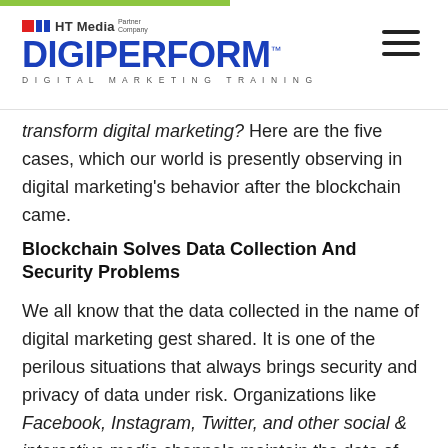DigiPerform — HT Media Partner Company — Digital Marketing Training
transform digital marketing? Here are the five cases, which our world is presently observing in digital marketing's behavior after the blockchain came.
Blockchain Solves Data Collection And Security Problems
We all know that the data collected in the name of digital marketing gest shared. It is one of the perilous situations that always brings security and privacy of data under risk. Organizations like Facebook, Instagram, Twitter, and other social & interactive media channels maintain the data of their user's activity. I think this is the reason why without the approval of a customer, their data gets usage and sharing. Mark Zuckerberg is always in th